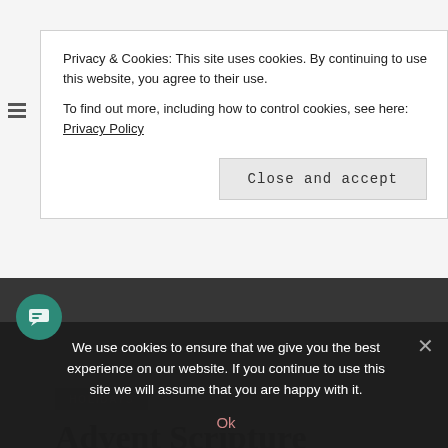Privacy & Cookies: This site uses cookies. By continuing to use this website, you agree to their use.
To find out more, including how to control cookies, see here: Privacy Policy
Close and accept
HOLIDAYS
Advent Scripture Reading Calendar 2018
AMBER   1 COMMENT
We use cookies to ensure that we give you the best experience on our website. If you continue to use this site we will assume that you are happy with it.
Ok